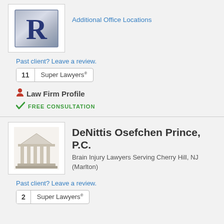[Figure (logo): Law firm logo with large letter R on metallic/silver background with border]
Additional Office Locations
Past client? Leave a review.
11  Super Lawyers®
Law Firm Profile
FREE CONSULTATION
[Figure (logo): DeNittis Osefchen Prince law firm logo showing a classical building/courthouse with columns]
DeNittis Osefchen Prince, P.C.
Brain Injury Lawyers Serving Cherry Hill, NJ (Marlton)
Past client? Leave a review.
2  Super Lawyers®